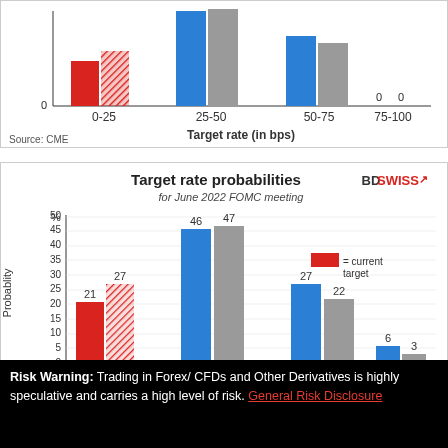[Figure (grouped-bar-chart): Top partial chart showing target rate probabilities with bars at 0-25 (red/hatched), 25-50 (blue/gray), 50-75 (blue/gray), 75-100 (0 and 0). X-axis label: Target rate (in bps). Source: CME]
Source: CME
[Figure (grouped-bar-chart): Target rate probabilities for June 2022 FOMC meeting]
Risk Warning: Trading in Forex/ CFDs and Other Derivatives is highly speculative and carries a high level of risk. General Risk Disclosure